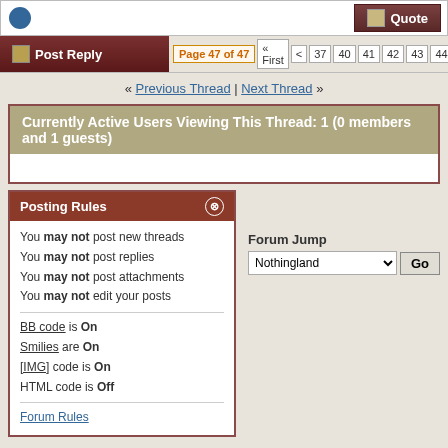Quote button row
Post Reply | Page 47 of 47 | « First | < | 37 | 40 | 41 | 42 | 43 | 44 | 45 | 46 | 47
« Previous Thread | Next Thread »
Currently Active Users Viewing This Thread: 1 (0 members and 1 guests)
Posting Rules
You may not post new threads
You may not post replies
You may not post attachments
You may not edit your posts

BB code is On
Smilies are On
[IMG] code is On
HTML code is Off

Forum Rules
Forum Jump
Nothingland  Go
All times are GMT -5. The time now is 02:49 PM.
---- cellar.org   Eat cookies · Contact Us - The Cellar - Archive - Top
Powered by: vBulletin Version 3.8.1
Copyright ©2000 - 2022, Jelsoft Enterprises Ltd.